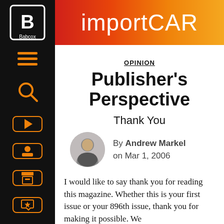importCAR
OPINION
Publisher's Perspective
Thank You
By Andrew Markel on Mar 1, 2006
I would like to say thank you for reading this magazine. Whether this is your first issue or your 896th issue, thank you for making it possible. We